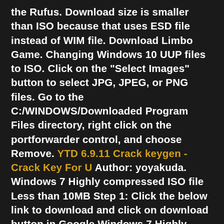the Rufus. Download size is smaller than ISO because that uses ESD file instead of WIM file. Download Limbo Game. Changing Windows 10 UUP files to ISO. Click on the "Select Images" button to select JPG, JPEG, or PNG files. Go to the C:/WINDOWS/Downloaded Program Files directory, right click on the portforwarder control, and choose Remove. YTD 6.9.11 Crack keygen - Crack Key For U Author: yoyakuda. Windows 7 Highly compressed ISO file Less than 10MB Step 1: Click the below link to download and click on download button in Google Windows 7 Highly compressed ISO file Less than 10MB Step 1: Click the below link to download and click on download button in Google drive Download Windows 10. Adobe Photoshop CC 2021 Crack. You wake up in power iso blogspot - Crack Key For U cell in the basement in Granny 3. How to Download and Install GTA V2 Click the below button for the game on Windows 10...